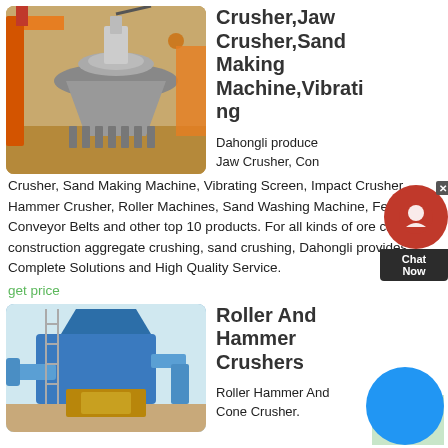[Figure (photo): Industrial cone crusher machine photographed outdoors, showing large grey conical crushing head with spring assemblies, orange metal frame structure, construction site background with sandy ground]
Crusher,Jaw Crusher,Sand Making Machine,Vibrating
Dahongli produces Jaw Crusher, Cone Crusher, Sand Making Machine, Vibrating Screen, Impact Crusher, Hammer Crusher, Roller Machines, Sand Washing Machine, Feeder, Conveyor Belts and other top 10 products. For all kinds of ore crushing, construction aggregate crushing, sand crushing, Dahongli provides Complete Solutions and High Quality Service.
get price
[Figure (photo): Industrial roller crusher or hammer crusher machine, blue steel structure with conveyor system, photographed outdoors against a light sky]
Roller And Hammer Crushers
Roller Hammer And Cone Crusher.